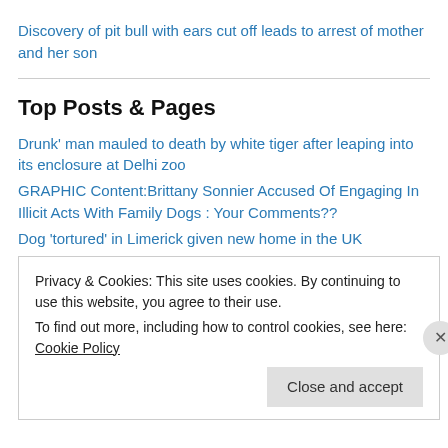Discovery of pit bull with ears cut off leads to arrest of mother and her son
Top Posts & Pages
Drunk' man mauled to death by white tiger after leaping into its enclosure at Delhi zoo
GRAPHIC Content:Brittany Sonnier Accused Of Engaging In Illicit Acts With Family Dogs : Your Comments??
Dog 'tortured' in Limerick given new home in the UK
Cruelty Behind the Mask of Jakarta's Monkey - A Life Of Torture & Begging
Privacy & Cookies: This site uses cookies. By continuing to use this website, you agree to their use. To find out more, including how to control cookies, see here: Cookie Policy